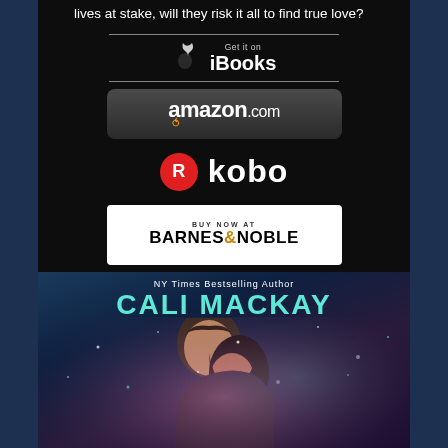lives at stake, will they risk it all to find true love?
[Figure (logo): Apple iBooks 'Get it on iBooks' badge with Apple logo]
[Figure (logo): Amazon.com button with smile logo]
[Figure (logo): Kobo logo with red R circle badge]
[Figure (logo): Barnes & Noble 'Buy Now At Barnes & Noble' button]
[Figure (illustration): Book cover by NY Times Bestselling Author Cali MacKay showing a couple in a romantic pose against a purple/blue sparkly background]